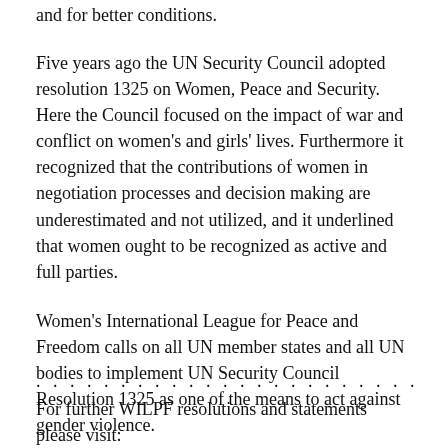and for better conditions.
Five years ago the UN Security Council adopted resolution 1325 on Women, Peace and Security. Here the Council focused on the impact of war and conflict on women's and girls' lives. Furthermore it recognized that the contributions of women in negotiation processes and decision making are underestimated and not utilized, and it underlined that women ought to be recognized as active and full parties.
Women's International League for Peace and Freedom calls on all UN member states and all UN bodies to implement UN Security Council Resolution 1325 as one of the means to act against gender violence.
. . . . . . . . . . . . . . . . . . . . . . .
For further WILPF resolutions and statements please visit: http://www.wilpf.int.ch/statements/sindex.htm